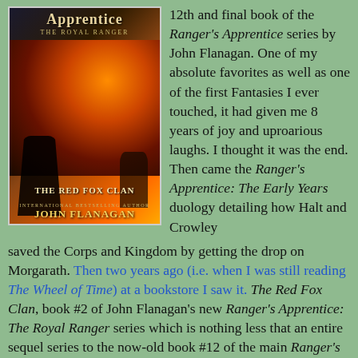[Figure (illustration): Book cover of Ranger's Apprentice: The Royal Ranger - The Red Fox Clan by John Flanagan, showing two hooded figures in a fiery orange background with stone steps]
12th and final book of the Ranger's Apprentice series by John Flanagan. One of my absolute favorites as well as one of the first Fantasies I ever touched, it had given me 8 years of joy and uproarious laughs. I thought it was the end. Then came the Ranger's Apprentice: The Early Years duology detailing how Halt and Crowley saved the Corps and Kingdom by getting the drop on Morgarath. Then two years ago (i.e. when I was still reading The Wheel of Time) at a bookstore I saw it. The Red Fox Clan, book #2 of John Flanagan's new Ranger's Apprentice: The Royal Ranger series which is nothing less that an entire sequel series to the now-old book #12 of the main Ranger's Apprentice series (now book #1 of the